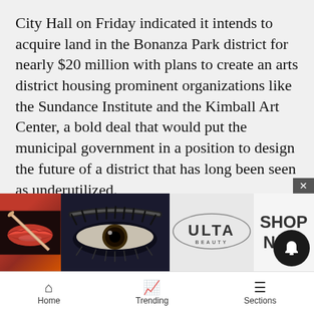City Hall on Friday indicated it intends to acquire land in the Bonanza Park district for nearly $20 million with plans to create an arts district housing prominent organizations like the Sundance Institute and the Kimball Art Center, a bold deal that would put the municipal government in a position to design the future of a district that has long been seen as underutilized.
The $19.5 million acquisition would involve 5.25 acres now under the ownership of the Bonanza Park partnership of Mark J. Fischer and John Paul DeJoria. The partnership has considered a major redevelopment of the land but encountered resistance from the Park City Planning Commissio... and pe... ould lead to... t
[Figure (photo): Ulta Beauty advertisement banner showing makeup imagery (lips, brush, eyes) with 'SHOP NOW' call to action]
Home   Trending   Sections